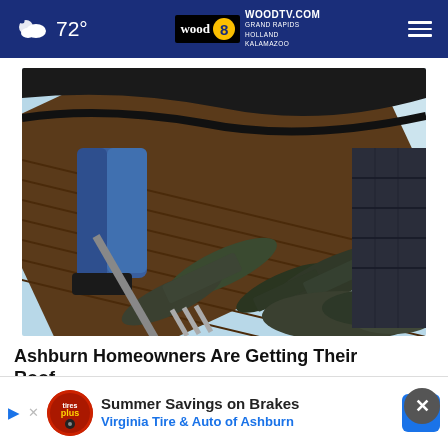72° — WOODTV.COM GRAND RAPIDS HOLLAND KALAMAZOO — wood 8
[Figure (photo): Person on a roof removing old shingles with a roofing fork/shovel. Damaged shingles are visible on the wooden roof deck.]
Ashburn Homeowners Are Getting Their Roof Replaced With This Special Program
Smart
[Figure (other): Advertisement banner: Summer Savings on Brakes — Virginia Tire & Auto of Ashburn, with Tires Plus logo and blue arrow icon]